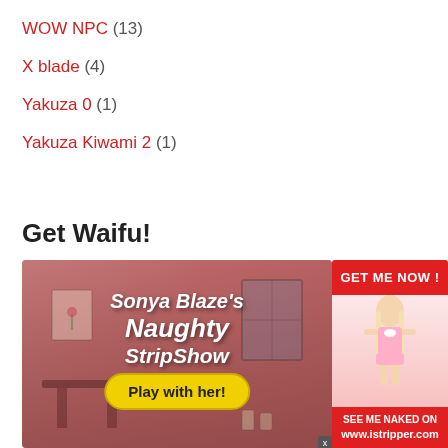WOW NPC (13)
X blade (4)
Yakuza 0 (1)
Yakuza Kiwami 2 (1)
Get Waifu!
[Figure (photo): Advertisement banner for 'Sonya Blaze's Naughty StripShow' with 'Play with her!' button, and a side panel showing a woman in pink lingerie with 'GET ME NOW!' and 'SEE ME NAKED ON www.istripper.com' text.]